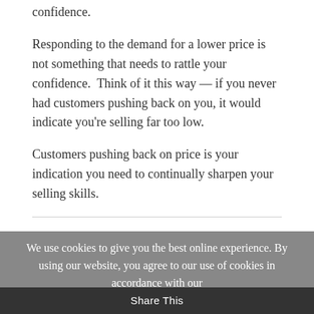confidence.
Responding to the demand for a lower price is not something that needs to rattle your confidence.  Think of it this way — if you never had customers pushing back on you, it would indicate you're selling far too low.
Customers pushing back on price is your indication you need to continually sharpen your selling skills.
We use cookies to give you the best online experience. By using our website, you agree to our use of cookies in accordance with our privacy policy.
Share This